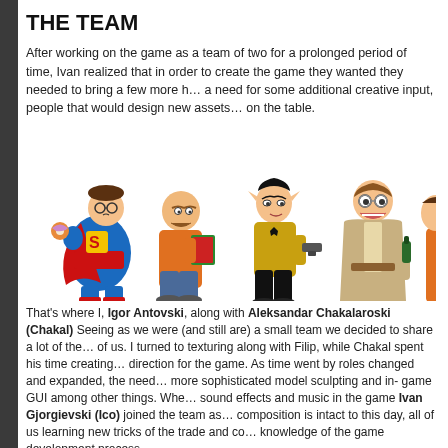THE TEAM
After working on the game as a team of two for a prolonged period of time, Ivan realized that in order to create the game they wanted they needed to bring a few more hands and a need for some additional creative input, people that would design new assets and bring on the table.
[Figure (illustration): Five cartoon characters dressed as pop culture icons: a fat Superman, a bald man with a mustache holding a book, a Star Trek character with a gun, a man in a robe holding a bottle, and a partial character in orange on the right edge.]
That's where I, Igor Antovski, along with Aleksandar Chakalaroski (Chakal) Seeing as we were (and still are) a small team we decided to share a lot of the roles between of us. I turned to texturing along with Filip, while Chakal spent his time creating the artistic direction for the game. As time went by roles changed and expanded, the need arose for more sophisticated model sculpting and in- game GUI among other things. When it came to sound effects and music in the game Ivan Gjorgievski (Ico) joined the team as well. Our composition is intact to this day, all of us learning new tricks of the trade and continuously knowledge of the game development process.
TESSERACT INTERACTIVE